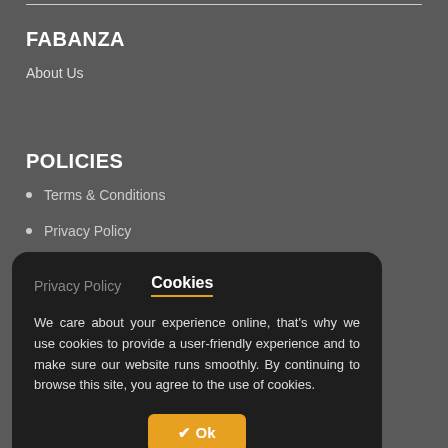FABANZA
About Us
POLICIES
Terms & Conditions
Privacy Policy
Delivery Policy
Exchanges & Returns
Payment Method
[Figure (screenshot): Cookie consent overlay with tabs 'Privacy Policy' and 'Cookies' (active), body text about cookie usage, and an 'Ok' button.]
COLLECTION